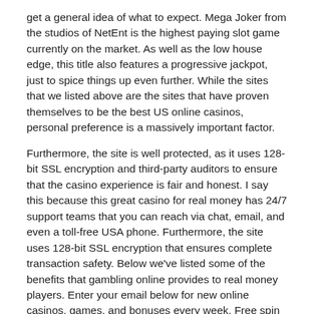get a general idea of what to expect. Mega Joker from the studios of NetEnt is the highest paying slot game currently on the market. As well as the low house edge, this title also features a progressive jackpot, just to spice things up even further. While the sites that we listed above are the sites that have proven themselves to be the best US online casinos, personal preference is a massively important factor.
Furthermore, the site is well protected, as it uses 128-bit SSL encryption and third-party auditors to ensure that the casino experience is fair and honest. I say this because this great casino for real money has 24/7 support teams that you can reach via chat, email, and even a toll-free USA phone. Furthermore, the site uses 128-bit SSL encryption that ensures complete transaction safety. Below we've listed some of the benefits that gambling online provides to real money players. Enter your email below for new online casinos, games, and bonuses every week. Free spin bonuses give you free spins on specific slot games.
Casino.org is the world's leading independent online gaming authority, providing trusted online casino news, guides, reviews and information since 1995. There are several free online casinos to choose from but here at Casino.org you will find the best ones. All of our rated casino reviews are based on a number of important casino comparison criteria